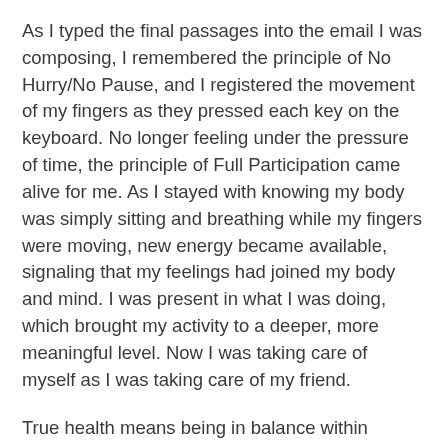As I typed the final passages into the email I was composing, I remembered the principle of No Hurry/No Pause, and I registered the movement of my fingers as they pressed each key on the keyboard. No longer feeling under the pressure of time, the principle of Full Participation came alive for me. As I stayed with knowing my body was simply sitting and breathing while my fingers were moving, new energy became available, signaling that my feelings had joined my body and mind. I was present in what I was doing, which brought my activity to a deeper, more meaningful level. Now I was taking care of myself as I was taking care of my friend.
True health means being in balance within myself and in all of my relationships — with people, things, ideas, and the events of life. No matter what situation I find myself in, I turn to one or more of the Nine Principles of Harmony as a way to gain a broader perspective and discover what I truly need in the moment. They always lead me to greater...